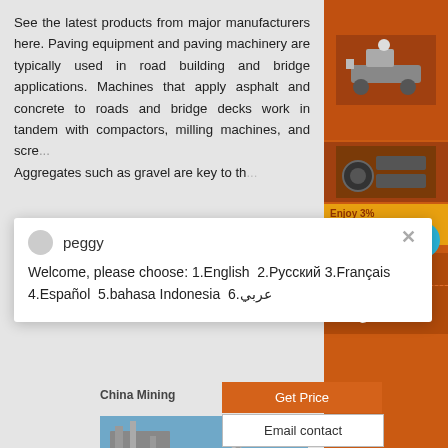See the latest products from major manufacturers here. Paving equipment and paving machinery are typically used in road building and bridge applications. Machines that apply asphalt and concrete to roads and bridge decks work in tandem with compactors, milling machines, and scre... Aggregates such as gravel are key to th...
[Figure (photo): Orange panel with mining equipment photo at top right]
peggy
Welcome, please choose: 1.English  2.Русский 3.Français 4.Español  5.bahasa Indonesia  6.عربي
China Mining
Get Price
Email contact
Enquiry
limingjlmofen@sina.com